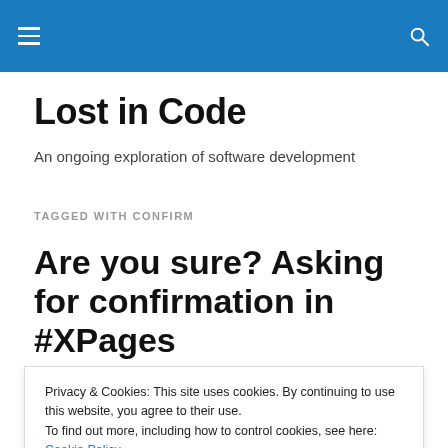Lost in Code
An ongoing exploration of software development
TAGGED WITH CONFIRM
Are you sure? Asking for confirmation in #XPages
Privacy & Cookies: This site uses cookies. By continuing to use this website, you agree to their use.
To find out more, including how to control cookies, see here: Cookie Policy
just entered, but that was not yet saved to disk